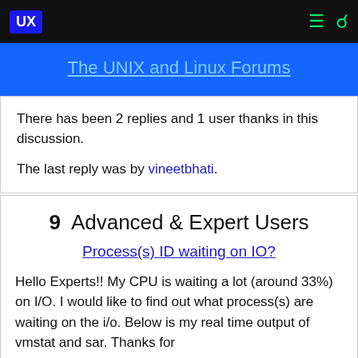UX | The UNIX and Linux Forums
There has been 2 replies and 1 user thanks in this discussion.

The last reply was by vineetbhati.
9  Advanced & Expert Users
Process(s) ID waiting on IO?
Hello Experts!! My CPU is waiting a lot (around 33%) on I/O. I would like to find out what process(s) are waiting on the i/o. Below is my real time output of vmstat and sar. Thanks for